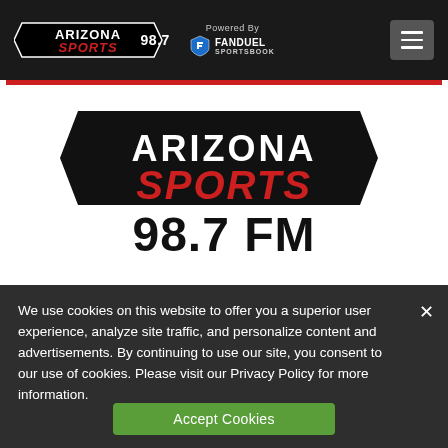Arizona Sports 98.7 FM — Powered By FanDuel Sportsbook
[Figure (logo): Arizona Sports 98.7 FM logo — black badge shape with ARIZONA in white bold text, SPORTS in red bold italic text, and 98.7 FM in large black bold text below]
We use cookies on this website to offer you a superior user experience, analyze site traffic, and personalize content and advertisements. By continuing to use our site, you consent to our use of cookies. Please visit our Privacy Policy for more information.
Accept Cookies